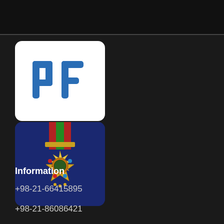[Figure (logo): BF company logo — blue stylized letters 'bf' on white rounded square background]
[Figure (photo): Military/honor medal with red and green striped ribbon, gold starburst design with colorful enamel details, on dark blue background]
Information
+98-21-66415895
+98-21-86086421